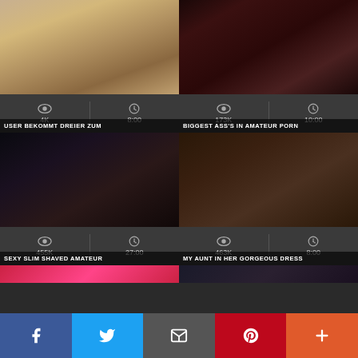[Figure (screenshot): Video thumbnail 1: USER BEKOMMT DREIER ZUM]
[Figure (screenshot): Video thumbnail 2: BIGGEST ASS'S IN AMATEUR PORN]
[Figure (screenshot): Video thumbnail 3: SEXY SLIM SHAVED AMATEUR]
[Figure (screenshot): Video thumbnail 4: MY AUNT IN HER GORGEOUS DRESS]
Facebook | Twitter | Email | Pinterest | More